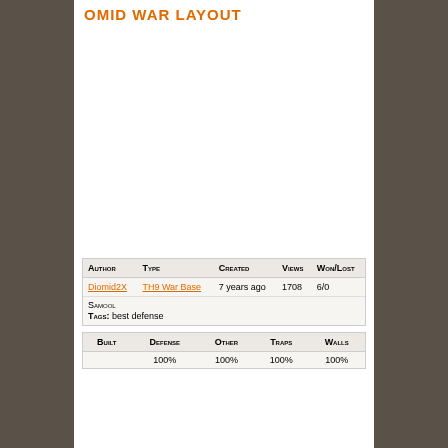OMID WAR LAYOUT
[Figure (other): Game base layout image area (blank/white in this view)]
| Author | Type | Created | Views | Won/Lost |
| --- | --- | --- | --- | --- |
| Diomid2X | TH9 War Base | 7 YEARS AGO | 1708 | 6/0 |
| Samool |  |  |  |  |
| Tags: best defense |  |  |  |  |
| Built | Defense | Other | Traps | Walls |
| --- | --- | --- | --- | --- |
|  | 100% | 100% | 100% | 100% |